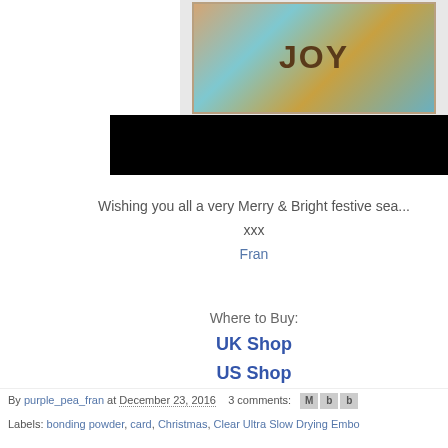[Figure (photo): Decorative craft card with 'JOY' text in colorful mixed media style with blue and teal tones]
[Figure (photo): Black bar / partially visible image below the JOY card]
Wishing you all a very Merry & Bright festive sea...
xxx
Fran
Where to Buy:
UK Shop
US Shop
By purple_pea_fran at December 23, 2016   3 comments:
Labels: bonding powder, card, Christmas, Clear Ultra Slow Drying Embo..., Embossing pen, Fab Foils, Fran Westmoreland, mixed media, Opaque B...